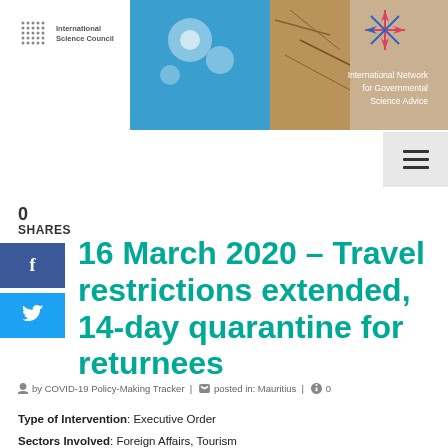[Figure (logo): International Science Council logo with dots grid pattern and text]
[Figure (photo): Banner image showing water droplets on blue surface and cracked dry earth, with International Network for Governmental Science Advice (INGSA) logo and star/compass icon overlay]
0
SHARES
16 March 2020 – Travel restrictions extended, 14-day quarantine for returnees
by COVID-19 Policy-Making Tracker | posted in: Mauritius | 0
Type of Intervention: Executive Order
Sectors Involved: Foreign Affairs, Tourism